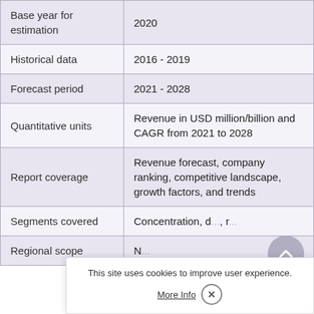| Base year for estimation | 2020 |
| Historical data | 2016 - 2019 |
| Forecast period | 2021 - 2028 |
| Quantitative units | Revenue in USD million/billion and CAGR from 2021 to 2028 |
| Report coverage | Revenue forecast, company ranking, competitive landscape, growth factors, and trends |
| Segments covered | Concentration, d..., r... |
| Regional scope | N... |